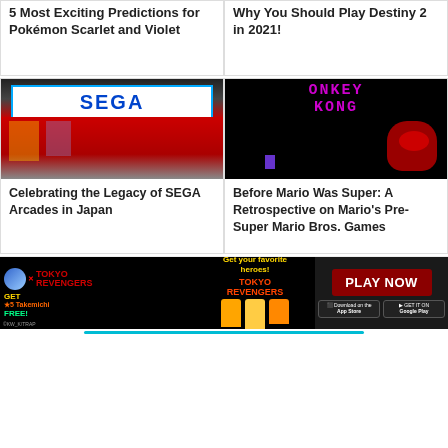5 Most Exciting Predictions for Pokémon Scarlet and Violet
Why You Should Play Destiny 2 in 2021!
[Figure (photo): SEGA arcade storefront in Japan with blue SEGA sign and red facade]
Celebrating the Legacy of SEGA Arcades in Japan
[Figure (screenshot): Donkey Kong classic arcade game screenshot with pixel art gorilla and ONKEY KONG text visible]
Before Mario Was Super: A Retrospective on Mario's Pre-Super Mario Bros. Games
[Figure (infographic): Tokyo Revengers mobile game advertisement banner with Play Now button and App Store / Google Play download buttons]